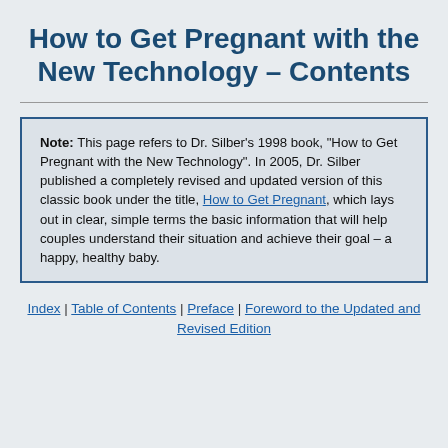How to Get Pregnant with the New Technology – Contents
Note: This page refers to Dr. Silber's 1998 book, "How to Get Pregnant with the New Technology". In 2005, Dr. Silber published a completely revised and updated version of this classic book under the title, How to Get Pregnant, which lays out in clear, simple terms the basic information that will help couples understand their situation and achieve their goal – a happy, healthy baby.
Index | Table of Contents | Preface | Foreword to the Updated and Revised Edition